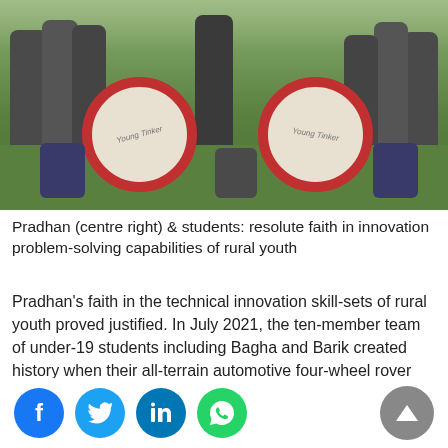[Figure (photo): Group photo of young students posing with large wheel/disc props labeled 'Young Tinker', likely at an outdoor event. Students are wearing white t-shirts and casual clothes.]
Pradhan (centre right) & students: resolute faith in innovation problem-solving capabilities of rural youth
Pradhan's faith in the technical innovation skill-sets of rural youth proved justified. In July 2021, the ten-member team of under-19 students including Bagha and Barik created history when their all-terrain automotive four-wheel rover with three gears and top speed of 25 kmph was awarded a bronze medal and adjudged the best entry from Asia, triumphing over student teams from the United States, Brazil, Bangladesh, besides teams from India. The